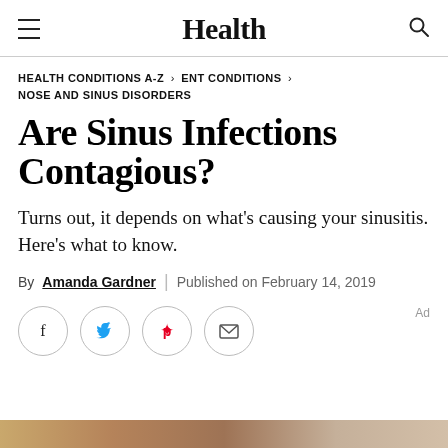Health
HEALTH CONDITIONS A-Z > ENT CONDITIONS > NOSE AND SINUS DISORDERS
Are Sinus Infections Contagious?
Turns out, it depends on what's causing your sinusitis. Here's what to know.
By Amanda Gardner | Published on February 14, 2019
[Figure (infographic): Social sharing buttons: Facebook, Twitter, Pinterest, Email]